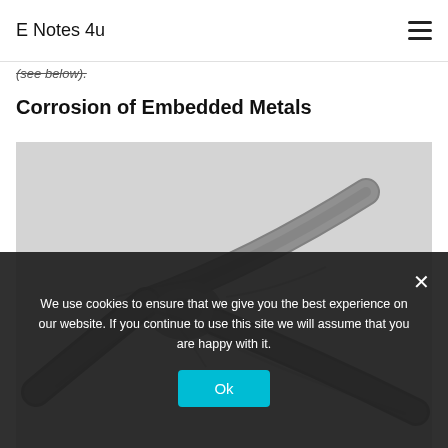E Notes 4u
(see below).
Corrosion of Embedded Metals
[Figure (photo): Grayscale photograph showing corroded steel reinforcement bars (rebar) with a twisted/crossed arrangement, showing surface corrosion and pitting on a light gray background.]
We use cookies to ensure that we give you the best experience on our website. If you continue to use this site we will assume that you are happy with it.